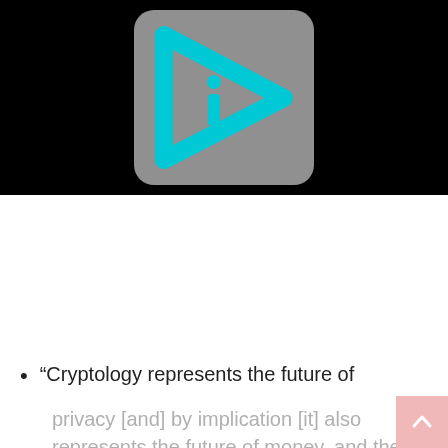[Figure (logo): A cyan/turquoise play-button arrow shape with a lowercase 'i' inside, on a gray rounded-rectangle background, set against a black banner.]
“Cryptology represents the future of privacy [and] by implication [it] also represents the future of money, and the